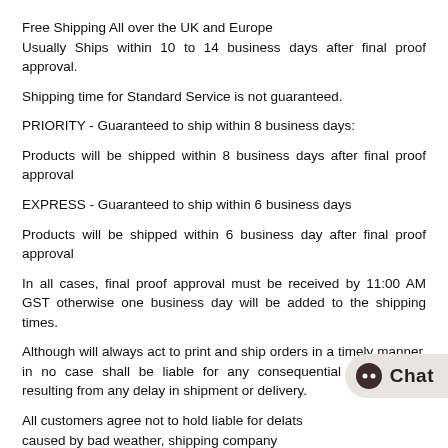Free Shipping All over the UK and Europe
Usually Ships within 10 to 14 business days after final proof approval.
Shipping time for Standard Service is not guaranteed.
PRIORITY - Guaranteed to ship within 8 business days:
Products will be shipped within 8 business days after final proof approval
EXPRESS - Guaranteed to ship within 6 business days
Products will be shipped within 6 business day after final proof approval
In all cases, final proof approval must be received by 11:00 AM GST otherwise one business day will be added to the shipping times.
Although will always act to print and ship orders in a timely manner, in no case shall be liable for any consequential or damages resulting from any delay in shipment or delivery.
All customers agree not to hold liable for delays and issues caused by bad weather, shipping company issues or any other circumstances beyond 's dire